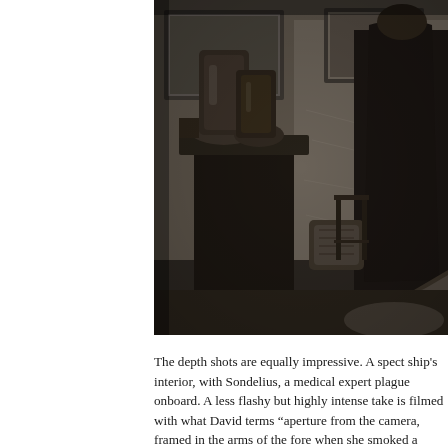[Figure (photo): Black and white film still showing a dimly lit room interior. On the left side there is a table with large glass jars or scientific equipment. A figure in a long dark coat or robe stands facing away toward a wall covered in handwritten text or writing. A framed picture hangs on the wall in the background. A wicker basket and chair are visible in the middle ground. The scene has dramatic contrast lighting from the right side.]
The depth shots are equally impressive. A spect ship's interior, with Sondelius, a medical expert plague onboard. A less flashy but highly intense take is filmed with what David terms “aperture from the camera, framed in the arms of the fore when she smoked a cigarette contaminated s